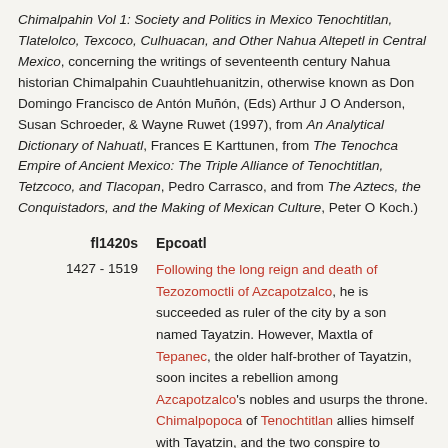Chimalpahin Vol 1: Society and Politics in Mexico Tenochtitlan, Tlatelolco, Texcoco, Culhuacan, and Other Nahua Altepetl in Central Mexico, concerning the writings of seventeenth century Nahua historian Chimalpahin Cuauhtlehuanitzin, otherwise known as Don Domingo Francisco de Antón Muñón, (Eds) Arthur J O Anderson, Susan Schroeder, & Wayne Ruwet (1997), from An Analytical Dictionary of Nahuatl, Frances E Karttunen, from The Tenochca Empire of Ancient Mexico: The Triple Alliance of Tenochtitlan, Tetzcoco, and Tlacopan, Pedro Carrasco, and from The Aztecs, the Conquistadors, and the Making of Mexican Culture, Peter O Koch.)
fl1420s   Epcoatl
1427 - 1519   Following the long reign and death of Tezozomoctli of Azcapotzalco, he is succeeded as ruler of the city by a son named Tayatzin. However, Maxtla of Tepanec, the older half-brother of Tayatzin, soon incites a rebellion among Azcapotzalco's nobles and usurps the throne. Chimalpopoca of Tenochtitlan allies himself with Tayatzin, and the two conspire to...